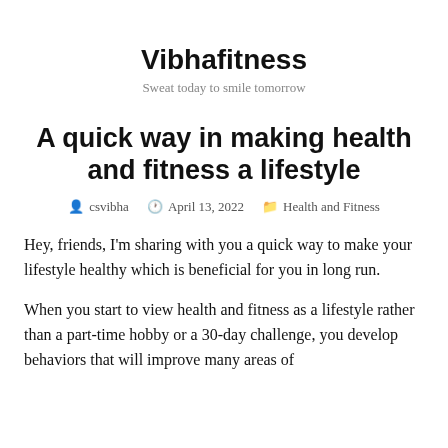Vibhafitness
Sweat today to smile tomorrow
A quick way in making health and fitness a lifestyle
csvibha   April 13, 2022   Health and Fitness
Hey, friends, I'm sharing with you a quick way to make your lifestyle healthy which is beneficial for you in long run.
When you start to view health and fitness as a lifestyle rather than a part-time hobby or a 30-day challenge, you develop behaviors that will improve many areas of